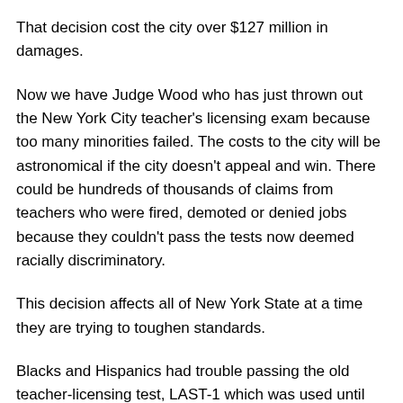That decision cost the city over $127 million in damages.
Now we have Judge Wood who has just thrown out the New York City teacher's licensing exam because too many minorities failed. The costs to the city will be astronomical if the city doesn't appeal and win. There could be hundreds of thousands of claims from teachers who were fired, demoted or denied jobs because they couldn't pass the tests now deemed racially discriminatory.
This decision affects all of New York State at a time they are trying to toughen standards.
Blacks and Hispanics had trouble passing the old teacher-licensing test, LAST-1 which was used until 2004. The new test, LAST-2 included a reading and writing section minorities are failing in record numbers. There is a new test, ALST, which